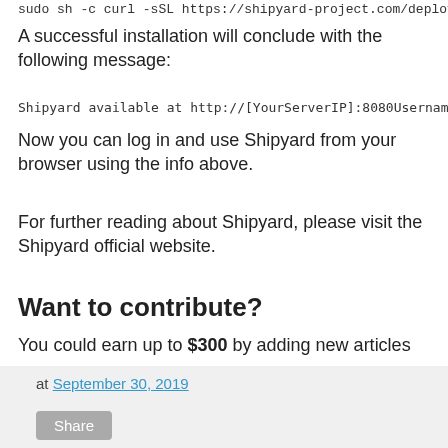sudo sh -c  curl -sSL https://shipyard-project.com/deploy
A successful installation will conclude with the following message:
Shipyard available at http://[YourServerIP]:8080Username:
Now you can log in and use Shipyard from your browser using the info above.
For further reading about Shipyard, please visit the Shipyard official website.
Want to contribute?
You could earn up to $300 by adding new articles
Submit your article
Suggest an update
Request an article
at September 30, 2019  Share